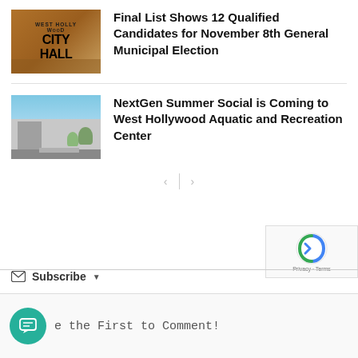[Figure (photo): West Hollywood City Hall building sign — brown wooden sign reading WEST HOLLYWOOD CITY HALL]
Final List Shows 12 Qualified Candidates for November 8th General Municipal Election
[Figure (photo): West Hollywood Aquatic and Recreation Center building exterior with blue sky]
NextGen Summer Social is Coming to West Hollywood Aquatic and Recreation Center
Subscribe
e the First to Comment!